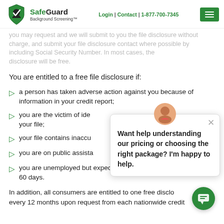Login | Contact | 1-877-700-7345
[Figure (logo): SafeGuard Background Screening logo with green shield icon]
disclosure will be free.
You are entitled to a free file disclosure if:
a person has taken adverse action against you because of information in your credit report;
you are the victim of identity theft and have a security freeze on your file;
your file contains inaccurate information as a result of fraud;
you are on public assistance;
you are unemployed but expect to apply for employment within 60 days.
In addition, all consumers are entitled to one free disclosure every 12 months upon request from each nationwide credit